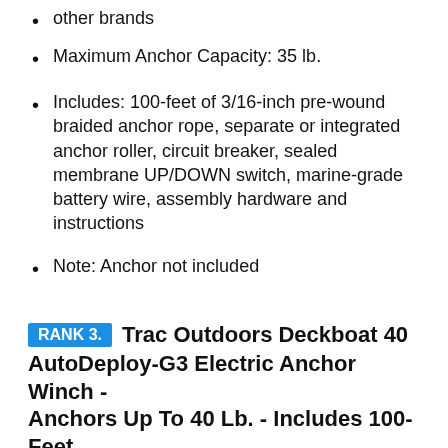other brands
Maximum Anchor Capacity: 35 lb.
Includes: 100-feet of 3/16-inch pre-wound braided anchor rope, separate or integrated anchor roller, circuit breaker, sealed membrane UP/DOWN switch, marine-grade battery wire, assembly hardware and instructions
Note: Anchor not included
RANK 3. Trac Outdoors Deckboat 40 AutoDeploy-G3 Electric Anchor Winch - Anchors Up To 40 Lb. - Includes 100-Feet Of Pre-Wound Anchor Rope With Use (69005), Gray
[Figure (other): Image placeholder box at bottom of page]